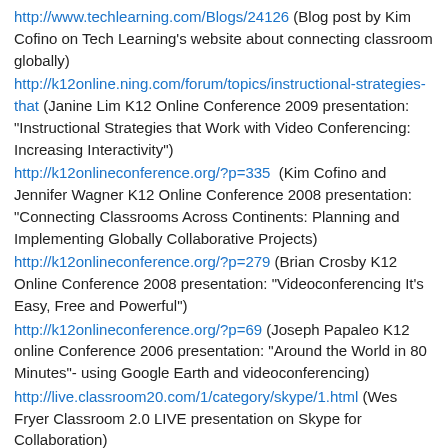http://www.techlearning.com/Blogs/24126 (Blog post by Kim Cofino on Tech Learning's website about connecting classroom globally)
http://k12online.ning.com/forum/topics/instructional-strategies-that (Janine Lim K12 Online Conference 2009 presentation: "Instructional Strategies that Work with Video Conferencing: Increasing Interactivity")
http://k12onlineconference.org/?p=335  (Kim Cofino and Jennifer Wagner K12 Online Conference 2008 presentation: "Connecting Classrooms Across Continents: Planning and Implementing Globally Collaborative Projects)
http://k12onlineconference.org/?p=279 (Brian Crosby K12 Online Conference 2008 presentation: "Videoconferencing It's Easy, Free and Powerful")
http://k12onlineconference.org/?p=69 (Joseph Papaleo K12 online Conference 2006 presentation: "Around the World in 80 Minutes"- using Google Earth and videoconferencing)
http://live.classroom20.com/1/category/skype/1.html (Wes Fryer Classroom 2.0 LIVE presentation on Skype for Collaboration)
http://langwitches.org/blog/2009/01/03/around-the-world-with-80-schools/ (Silvia Tolisano-Langwitches: Around the World with 80